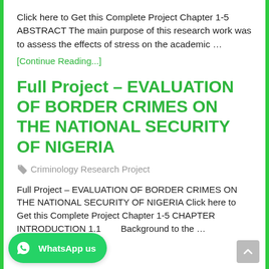Click here to Get this Complete Project Chapter 1-5 ABSTRACT The main purpose of this research work was to assess the effects of stress on the academic …
[Continue Reading...]
Full Project – EVALUATION OF BORDER CRIMES ON THE NATIONAL SECURITY OF NIGERIA
🏷 Criminology Research Project
Full Project – EVALUATION OF BORDER CRIMES ON THE NATIONAL SECURITY OF NIGERIA Click here to Get this Complete Project Chapter 1-5 CHAPTER INTRODUCTION 1.1    Background to the …